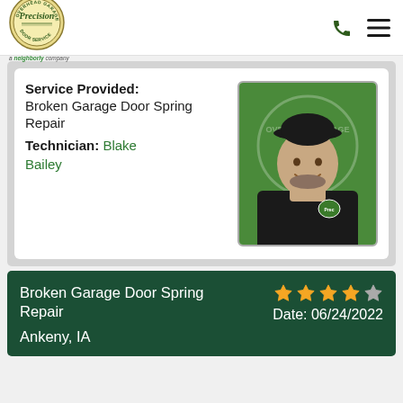[Figure (logo): Precision Door Service logo - circular badge with 'Overhead Garage Door Service' text and 'a neighborly company' tagline below]
Service Provided: Broken Garage Door Spring Repair
Technician: Blake Bailey
[Figure (photo): Headshot of technician Blake Bailey, a man with a beard wearing a black cap and black hoodie with Precision logo, against a green background with Precision logo watermark]
Broken Garage Door Spring Repair  ★★★★☆  Date: 06/24/2022  Ankeny, IA